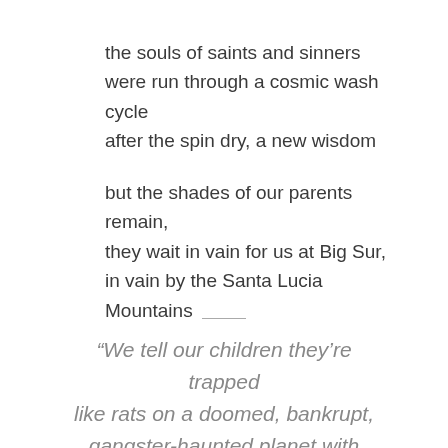the souls of saints and sinners
were run through a cosmic wash cycle
after the spin dry, a new wisdom

but the shades of our parents remain,
they wait in vain for us at Big Sur,
in vain by the Santa Lucia Mountains
“We tell our children they’re trapped like rats on a doomed, bankrupt, gangster-haunted planet with dwindling resources, with nothing to